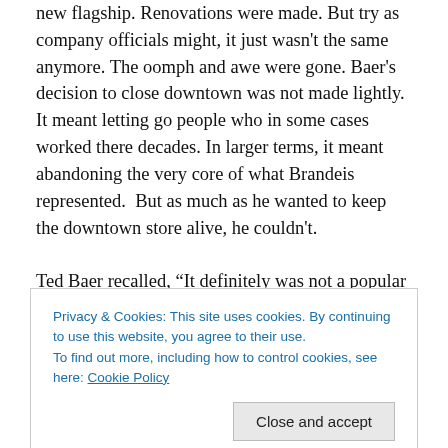new flagship. Renovations were made. But try as company officials might, it just wasn't the same anymore. The oomph and awe were gone. Baer's decision to close downtown was not made lightly. It meant letting go people who in some cases worked there decades. In larger terms, it meant abandoning the very core of what Brandeis represented.  But as much as he wanted to keep the downtown store alive, he couldn't.

Ted Baer recalled, “It definitely was not a popular decision, either in the Brandeis community or within the larger
Privacy & Cookies: This site uses cookies. By continuing to use this website, you agree to their use.
To find out more, including how to control cookies, see here: Cookie Policy
Still, Brandeis moved on and rebuilt its financial health. A